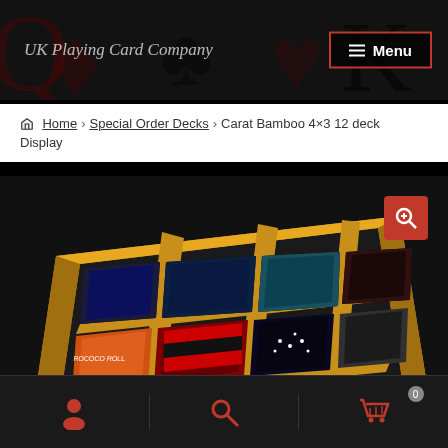UK Playing Card Company | Menu
Home > Special Order Decks > Carat Bamboo 4×3 12 deck Display
[Figure (photo): A bamboo wooden display tray divided into 12 compartments (4 columns × 3 rows), each holding a deck of playing cards with various colorful backs, photographed on a dark background.]
User account icon | Search icon | Cart icon with badge 0